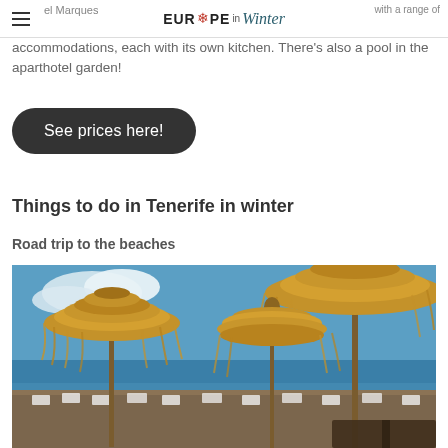EUROPE in Winter
el Marques … with a range of accommodations, each with its own kitchen. There's also a pool in the aparthotel garden!
See prices here!
Things to do in Tenerife in winter
Road trip to the beaches
[Figure (photo): Beach scene with straw thatched umbrellas (palapa parasols) on a dark sandy beach, with blue sky, white clouds, blue ocean water, and white beach chairs/loungers visible in the background.]